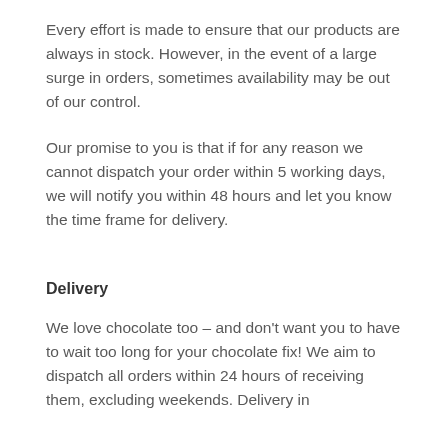Every effort is made to ensure that our products are always in stock. However, in the event of a large surge in orders, sometimes availability may be out of our control.
Our promise to you is that if for any reason we cannot dispatch your order within 5 working days, we will notify you within 48 hours and let you know the time frame for delivery.
Delivery
We love chocolate too – and don't want you to have to wait too long for your chocolate fix! We aim to dispatch all orders within 24 hours of receiving them, excluding weekends. Delivery in